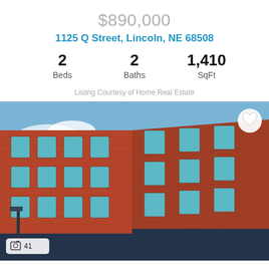$890,000
1125 Q Street, Lincoln, NE 68508
2 Beds  2 Baths  1,410 SqFt
Listing Courtesy of Home Real Estate
[Figure (photo): Exterior photo of a historic 4-story red brick building at a street corner in Lincoln, NE. Blue sky with clouds visible. Photo counter shows 41 photos.]
$885,000
747 O Street, Lincoln, NE 68508